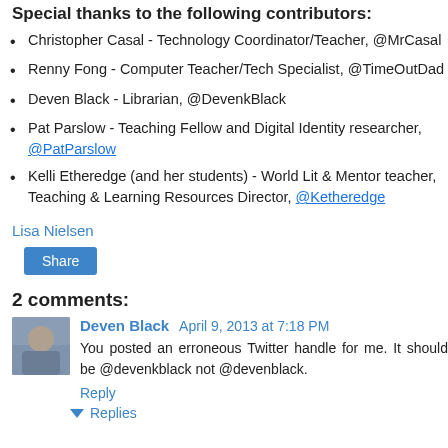Special thanks to the following contributors:
Christopher Casal - Technology Coordinator/Teacher, @MrCasal
Renny Fong - Computer Teacher/Tech Specialist, @TimeOutDad
Deven Black - Librarian, @DevenkBlack
Pat Parslow - Teaching Fellow and Digital Identity researcher, @PatParslow
Kelli Etheredge (and her students) - World Lit & Mentor teacher, Teaching & Learning Resources Director, @Ketheredge
Lisa Nielsen
Share
2 comments:
Deven Black  April 9, 2013 at 7:18 PM
You posted an erroneous Twitter handle for me. It should be @devenkblack not @devenblack.
Reply
Replies